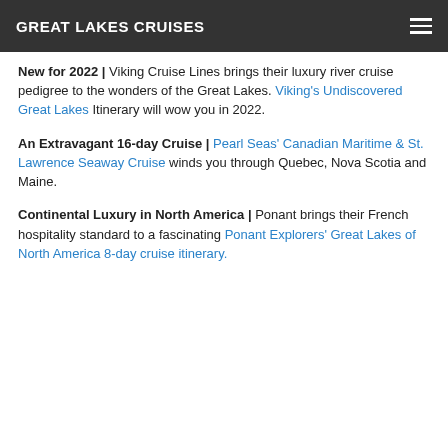GREAT LAKES CRUISES
New for 2022 | Viking Cruise Lines brings their luxury river cruise pedigree to the wonders of the Great Lakes. Viking's Undiscovered Great Lakes Itinerary will wow you in 2022.
An Extravagant 16-day Cruise | Pearl Seas' Canadian Maritime & St. Lawrence Seaway Cruise winds you through Quebec, Nova Scotia and Maine.
Continental Luxury in North America | Ponant brings their French hospitality standard to a fascinating Ponant Explorers' Great Lakes of North America 8-day cruise itinerary.